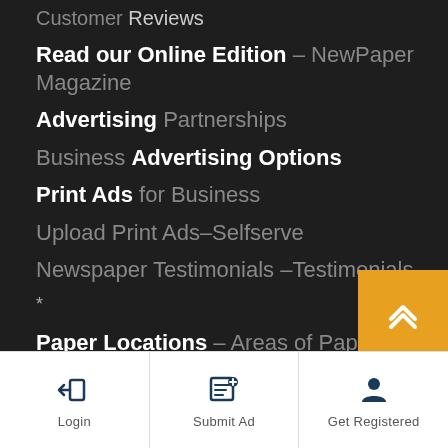Customer Reviews
Read our Online Edition – NewPaper Magazine
Advertising Partnerships
Business Advertising Options
Print Ads for Business
Upload Print Ads–Selfserve
Newspaper Testimonials – Testimonials
*
Paper Locations – Areas of Paper Distribution
Frequently Asked Questions
[Figure (other): Orange scroll-to-top button with double chevron up arrow]
Login | Submit Ad | Get Registered